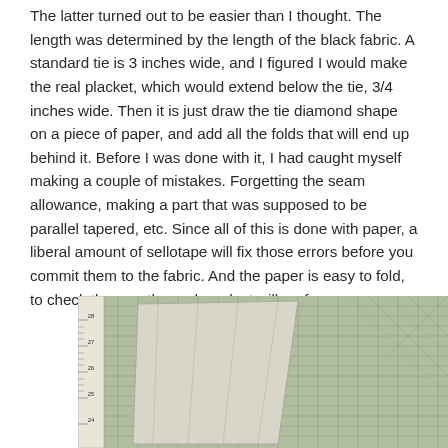The latter turned out to be easier than I thought. The length was determined by the length of the black fabric. A standard tie is 3 inches wide, and I figured I would make the real placket, which would extend below the tie, 3/4 inches wide. Then it is just draw the tie diamond shape on a piece of paper, and add all the folds that will end up behind it. Before I was done with it, I had caught myself making a couple of mistakes. Forgetting the seam allowance, making a part that was supposed to be parallel tapered, etc. Since all of this is done with paper, a liberal amount of sellotape will fix those errors before you commit them to the fabric. And the paper is easy to fold, to check the way the end product will perform.
[Figure (photo): A photo showing a paper pattern piece for a tie placket laid on a green cutting mat with grid lines. A wooden board or ruler is visible on the left side. A clear ruler with measurements (25, 26, 27, 28) is visible along the left edge of the mat.]